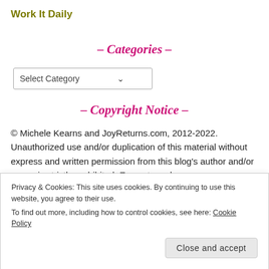Work It Daily
- Categories -
Select Category
- Copyright Notice -
© Michele Kearns and JoyReturns.com, 2012-2022. Unauthorized use and/or duplication of this material without express and written permission from this blog's author and/or owner is strictly prohibited. Excerpts and
Privacy & Cookies: This site uses cookies. By continuing to use this website, you agree to their use.
To find out more, including how to control cookies, see here: Cookie Policy
Close and accept